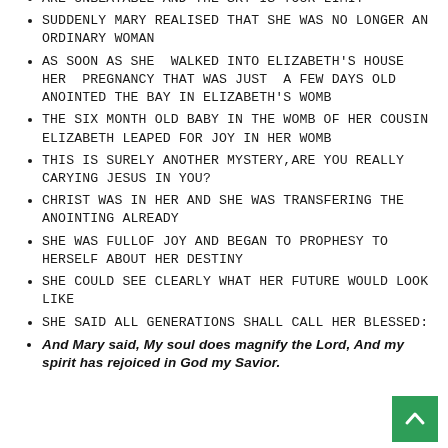ARE UNBEATABLE AND THE SKY IS YOUR LIMIT
SUDDENLY MARY REALISED THAT SHE WAS NO LONGER AN ORDINARY WOMAN
AS SOON AS SHE WALKED INTO ELIZABETH'S HOUSE HER PREGNANCY THAT WAS JUST A FEW DAYS OLD ANOINTED THE BAY IN ELIZABETH'S WOMB
THE SIX MONTH OLD BABY IN THE WOMB OF HER COUSIN ELIZABETH LEAPED FOR JOY IN HER WOMB
THIS IS SURELY ANOTHER MYSTERY,ARE YOU REALLY CARYING JESUS IN YOU?
CHRIST WAS IN HER AND SHE WAS TRANSFERING THE ANOINTING ALREADY
SHE WAS FULLOF JOY AND BEGAN TO PROPHESY TO HERSELF ABOUT HER DESTINY
SHE COULD SEE CLEARLY WHAT HER FUTURE WOULD LOOK LIKE
SHE SAID ALL GENERATIONS SHALL CALL HER BLESSED:
And Mary said, My soul does magnify the Lord, And my spirit has rejoiced in God my Savior.